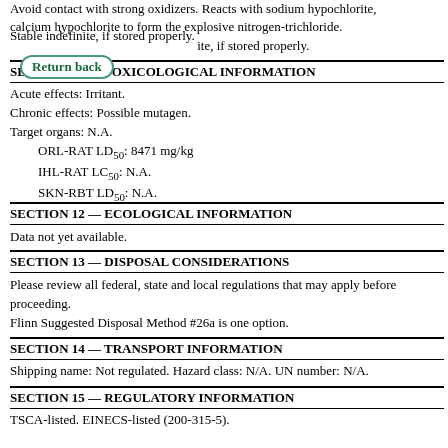Avoid contact with strong oxidizers. Reacts with sodium hypochlorite, calcium hypochlorite to form the explosive nitrogen-trichloride. Stable indefinitely, if stored properly.
SECTION 11 — TOXICOLOGICAL INFORMATION
Acute effects: Irritant.
Chronic effects: Possible mutagen.
Target organs: N.A.
    ORL-RAT LD50: 8471 mg/kg
    IHL-RAT LC50: N.A.
    SKN-RBT LD50: N.A.
SECTION 12 — ECOLOGICAL INFORMATION
Data not yet available.
SECTION 13 — DISPOSAL CONSIDERATIONS
Please review all federal, state and local regulations that may apply before proceeding.
Flinn Suggested Disposal Method #26a is one option.
SECTION 14 — TRANSPORT INFORMATION
Shipping name: Not regulated. Hazard class: N/A. UN number: N/A.
SECTION 15 — REGULATORY INFORMATION
TSCA-listed. EINECS-listed (200-315-5).